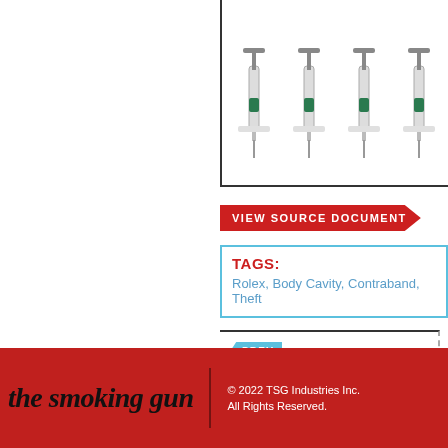[Figure (photo): Row of medical syringes displayed in a partially visible bordered box]
VIEW SOURCE DOCUMENT
TAGS: Rolex, Body Cavity, Contraband, Theft
PREV DOCUMENT — Walmart Greeter Clobbered By Irate Customer
the smoking gun © 2022 TSG Industries Inc. All Rights Reserved.